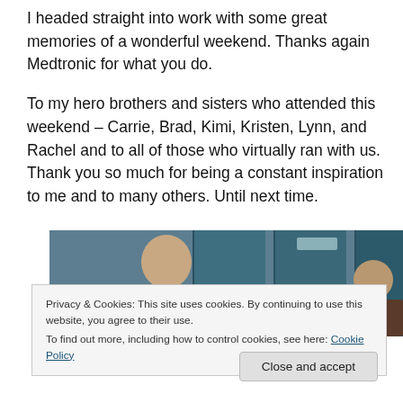I headed straight into work with some great memories of a wonderful weekend.  Thanks again Medtronic for what you do.
To my hero brothers and sisters who attended this weekend – Carrie, Brad, Kimi, Kristen, Lynn, and Rachel and to all of those who virtually ran with us.  Thank you so much for being a constant inspiration to me and to many others. Until next time.
[Figure (photo): A partial photo showing a person standing in front of teal/blue doors, cropped at the bottom of the visible area.]
Privacy & Cookies: This site uses cookies. By continuing to use this website, you agree to their use.
To find out more, including how to control cookies, see here: Cookie Policy
Close and accept